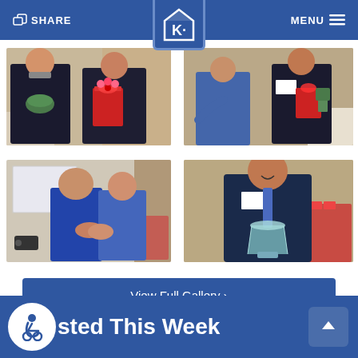SHARE | K logo | MENU
[Figure (photo): Two men at an event, one holding a decorative bowl and the other holding a large red gift bag]
[Figure (photo): Two men standing at an event, one gesturing and the other holding a red gift and a plaque]
[Figure (photo): Two men in suits shaking hands at an event with a projection screen in the background]
[Figure (photo): Man in a suit smiling and holding a glass award trophy at an event]
View Full Gallery ›
sted This Week